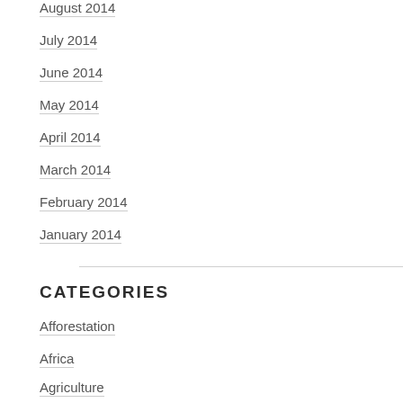August 2014
July 2014
June 2014
May 2014
April 2014
March 2014
February 2014
January 2014
CATEGORIES
Afforestation
Africa
Agriculture